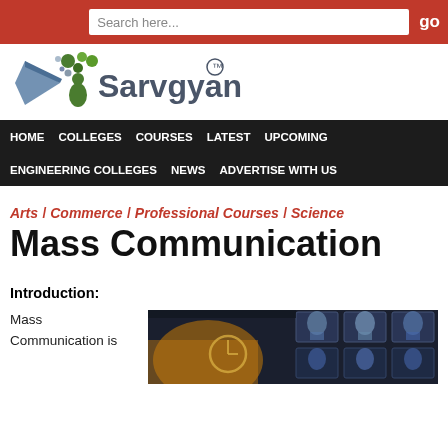Search here... go
[Figure (logo): Sarvgyan logo with TM mark and icon of person with leaves]
HOME  COLLEGES  COURSES  LATEST  UPCOMING  ENGINEERING COLLEGES  NEWS  ADVERTISE WITH US
Arts / Commerce / Professional Courses / Science
Mass Communication
Introduction:
Mass Communication is
[Figure (photo): Photo of a broadcast/media control room with monitors showing faces and studio equipment in dark blue lighting]